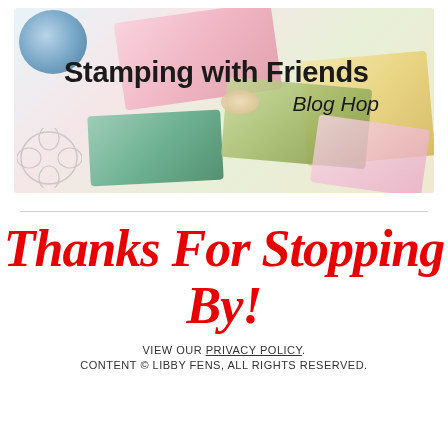[Figure (illustration): Stamping with Friends Blog Hop banner image showing craft papers, cards with floral and watercolor designs, a blue paper roll, and a small bow, with the text 'Stamping with Friends Blog Hop' overlaid]
Thanks For Stopping By!
VIEW OUR PRIVACY POLICY.
CONTENT © LIBBY FENS, ALL RIGHTS RESERVED.